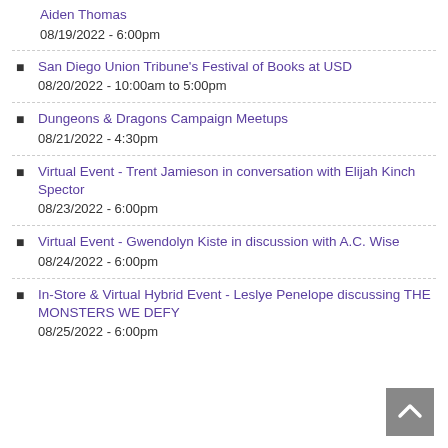Aiden Thomas
08/19/2022 - 6:00pm
San Diego Union Tribune's Festival of Books at USD
08/20/2022 - 10:00am to 5:00pm
Dungeons & Dragons Campaign Meetups
08/21/2022 - 4:30pm
Virtual Event - Trent Jamieson in conversation with Elijah Kinch Spector
08/23/2022 - 6:00pm
Virtual Event - Gwendolyn Kiste in discussion with A.C. Wise
08/24/2022 - 6:00pm
In-Store & Virtual Hybrid Event - Leslye Penelope discussing THE MONSTERS WE DEFY
08/25/2022 - 6:00pm